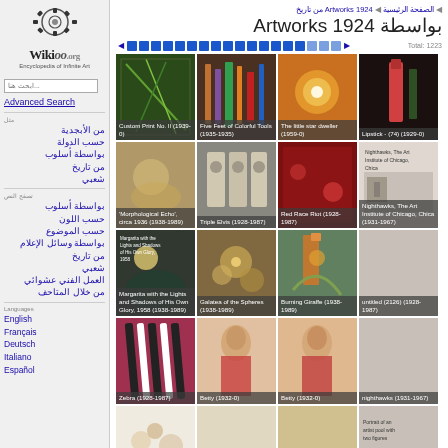[Figure (logo): Wikioo.org logo with gear icon and text 'Encyclopedia of Infinite Art']
Search box
Advanced Search
من الأبجدية
حسب الدولة
بواسطة أسلوب
من تاريخ
شعبي
بواسطة أسلوب
حسب اللون
حسب الموضوع
بواسطة وسائل الإعلام
من تاريخ
شعبي
العمل الفني عشوائي
من خلال المتاحف
English
Français
Deutsch
Italiano
Español
من تاريخ Artworks 1924 ▶ الصفحة الرئيسية ◀
بواسطة Artworks 1924
[Figure (screenshot): Pagination bar with blue squares and arrow controls, showing total ~1223]
[Figure (photo): Custom Print No. II (1939-0)]
[Figure (photo): Five Feet of Colorful Tools (1935-1935)]
[Figure (photo): The little star dweller (1959-0)]
[Figure (photo): Lipstick - (74) (1929-0)]
[Figure (photo): 'Morphological Echo', circa 1936 (1938-1989)]
[Figure (photo): Triple Elvis (1928-1987)]
[Figure (photo): Red Race Riot (1928-1987)]
[Figure (photo): Nighthawks, The Art Institute of Chicago, Chica (1931-1967)]
[Figure (photo): Margarita with the Lights and Shadows of His Own Glory, 1958 (1938-1989)]
[Figure (photo): Galatea of the Spheres (1938-1989)]
[Figure (photo): Burning Giraffe (1938-1989)]
[Figure (photo): untitled (2126) (1928-1987)]
[Figure (photo): Zebra (1928-1987)]
[Figure (photo): Betty (1932-0)]
[Figure (photo): Betty (1932-0)]
[Figure (photo): nighthawks (1931-1967)]
[Figure (photo): Flowers]
[Figure (photo): Birth of a Divinity, 1960]
[Figure (photo): Girl with Curls]
[Figure (photo): Portrait of an artist pool with two figures]